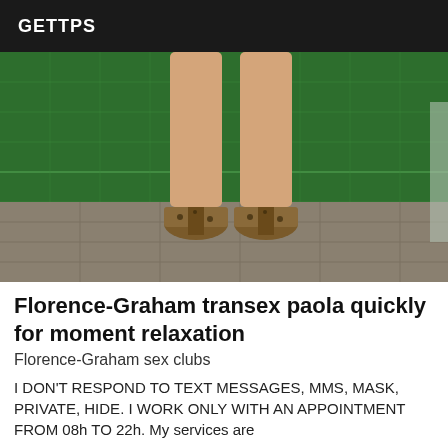GETTPS
[Figure (photo): Photo of a person's legs from mid-thigh down, wearing leopard-print high heels, standing on a tiled surface in front of a green fence/netting background.]
Florence-Graham transex paola quickly for moment relaxation
Florence-Graham sex clubs
I DON'T RESPOND TO TEXT MESSAGES, MMS, MASK, PRIVATE, HIDE. I WORK ONLY WITH AN APPOINTMENT FROM 08h TO 22h. My services are